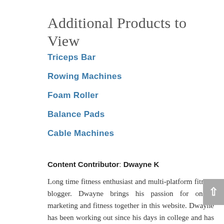Additional Products to View
Triceps Bar
Rowing Machines
Foam Roller
Balance Pads
Cable Machines
Content Contributor: Dwayne K
Long time fitness enthusiast and multi-platform fitness blogger. Dwayne brings his passion for online marketing and fitness together in this website. Dwayne has been working out since his days in college and has never stopped. As he's aged, almost 60 now, I've managed to stay off medications by exercising, eating properly and using